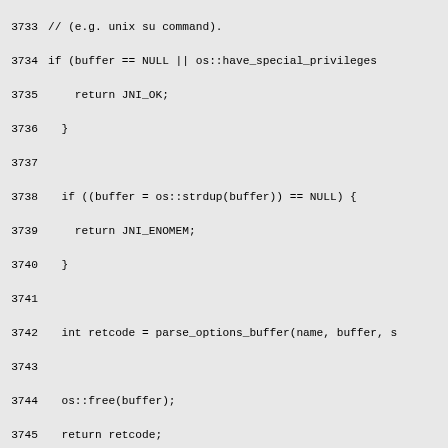Source code listing lines 3733-3762, C++ code for Arguments::parse_vm_options_file function